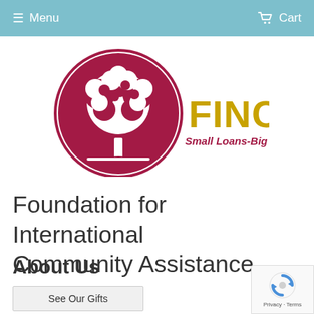Menu   Cart
[Figure (logo): FINCA logo: circular emblem with white tree silhouette on crimson/maroon background with crimson border, next to gold 'FINCA' text and maroon 'Small Loans-Big Changes' tagline]
Foundation for International Community Assistance
About Us
See Our Gifts